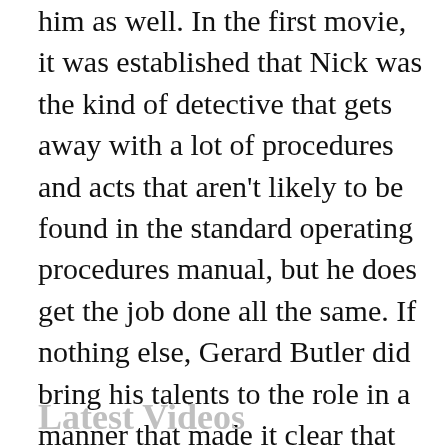him as well. In the first movie, it was established that Nick was the kind of detective that gets away with a lot of procedures and acts that aren't likely to be found in the standard operating procedures manual, but he does get the job done all the same. If nothing else, Gerard Butler did bring his talents to the role in a manner that made it clear that Nick was a guy out to dispense justice, but was more akin to Denzel Washington's character in Training Day than anything else. The hardened, grizzled detective that's all about taking down the bad guys no matter how it has to happen was the way this movie played out, and it worked.
Latest Videos